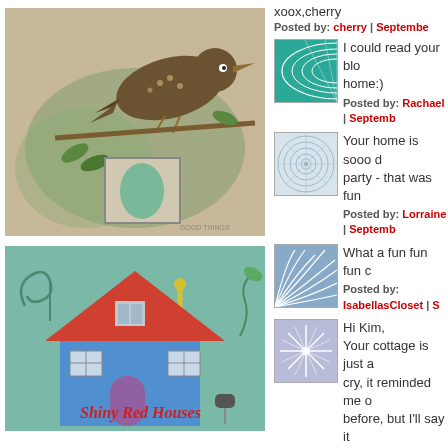xoox,cherry
Posted by: cherry | September
[Figure (photo): Brambleberry Cottage blog header image with a bird and egg illustration]
I could read your blo... home:)
Posted by: Rachael | Septemb
Your home is sooo d... party - that was fun
Posted by: Lorraine | Septemb
[Figure (photo): Shiny Red Houses blog header image with a colorful illustrated house]
What a fun fun fun c
Posted by: IsabellasCloset | S
Hi Kim, Your cottage is just a cry, it reminded me o before, but I'll say it